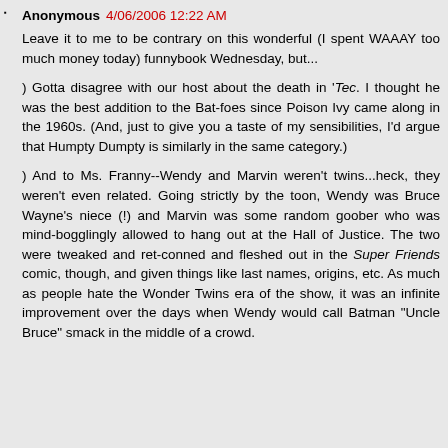Anonymous 4/06/2006 12:22 AM
Leave it to me to be contrary on this wonderful (I spent WAAAY too much money today) funnybook Wednesday, but...
) Gotta disagree with our host about the death in 'Tec. I thought he was the best addition to the Bat-foes since Poison Ivy came along in the 1960s. (And, just to give you a taste of my sensibilities, I'd argue that Humpty Dumpty is similarly in the same category.)
) And to Ms. Franny--Wendy and Marvin weren't twins...heck, they weren't even related. Going strictly by the toon, Wendy was Bruce Wayne's niece (!) and Marvin was some random goober who was mind-bogglingly allowed to hang out at the Hall of Justice. The two were tweaked and ret-conned and fleshed out in the Super Friends comic, though, and given things like last names, origins, etc. As much as people hate the Wonder Twins era of the show, it was an infinite improvement over the days when Wendy would call Batman "Uncle Bruce" smack in the middle of a crowd.